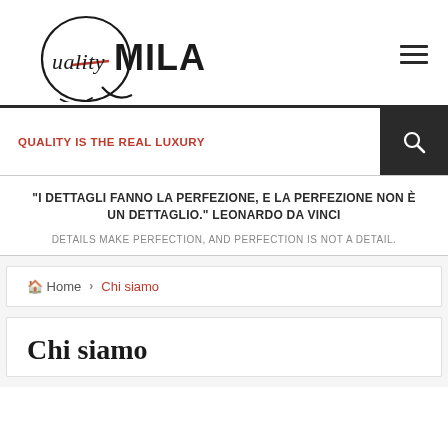[Figure (logo): Quality Milan logo with cursive 'Quality' and bold 'MILAN' text]
QUALITY IS THE REAL LUXURY
"I DETTAGLI FANNO LA PERFEZIONE, E LA PERFEZIONE NON È UN DETTAGLIO." LEONARDO DA VINCI
DETAILS MAKE PERFECTION, AND PERFECTION IS NOT A DETAIL.
Home › Chi siamo
Chi siamo